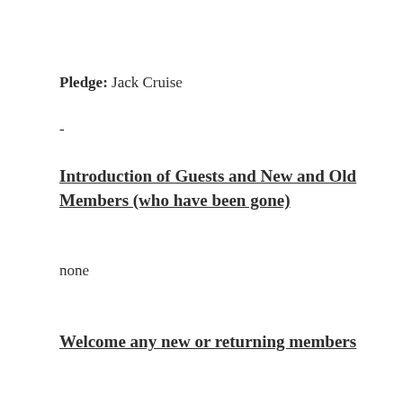Pledge: Jack Cruise
-
Introduction of Guests and New and Old Members (who have been gone)
none
Welcome any new or returning members